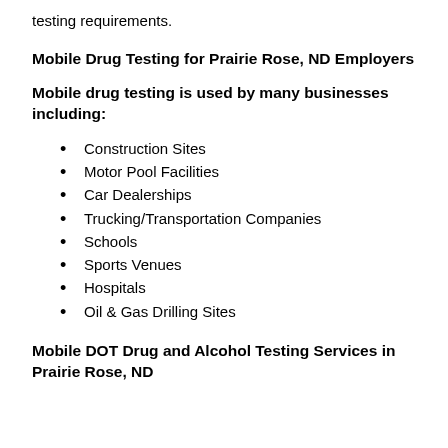testing requirements.
Mobile Drug Testing for Prairie Rose, ND Employers
Mobile drug testing is used by many businesses including:
Construction Sites
Motor Pool Facilities
Car Dealerships
Trucking/Transportation Companies
Schools
Sports Venues
Hospitals
Oil & Gas Drilling Sites
Mobile DOT Drug and Alcohol Testing Services in Prairie Rose, ND